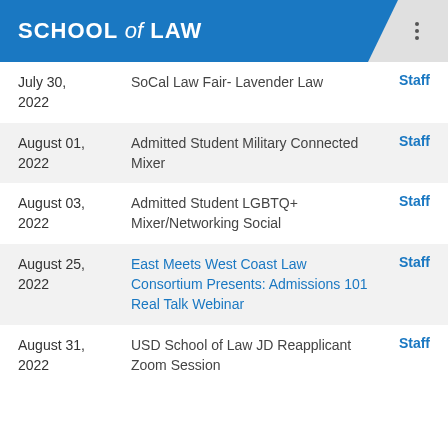SCHOOL of LAW
July 30, 2022 | SoCal Law Fair- Lavender Law | Staff
August 01, 2022 | Admitted Student Military Connected Mixer | Staff
August 03, 2022 | Admitted Student LGBTQ+ Mixer/Networking Social | Staff
August 25, 2022 | East Meets West Coast Law Consortium Presents: Admissions 101 Real Talk Webinar | Staff
August 31, 2022 | USD School of Law JD Reapplicant Zoom Session | Staff